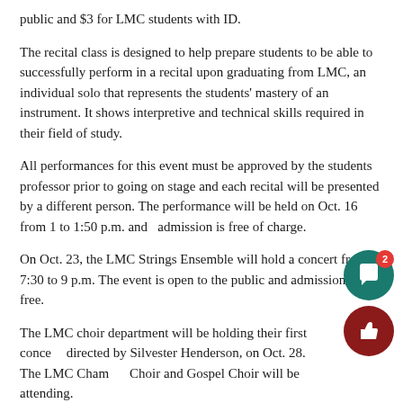public and $3 for LMC students with ID.
The recital class is designed to help prepare students to be able to successfully perform in a recital upon graduating from LMC, an individual solo that represents the students' mastery of an instrument. It shows interpretive and technical skills required in their field of study.
All performances for this event must be approved by the students professor prior to going on stage and each recital will be presented by a different person. The performance will be held on Oct. 16 from 1 to 1:50 p.m. and  admission is free of charge.
On Oct. 23, the LMC Strings Ensemble will hold a concert from 7:30 to 9 p.m. The event is open to the public and admission is free.
The LMC choir department will be holding their first concert, directed by Silvester Henderson, on Oct. 28. The LMC Chamber Choir and Gospel Choir will be attending.